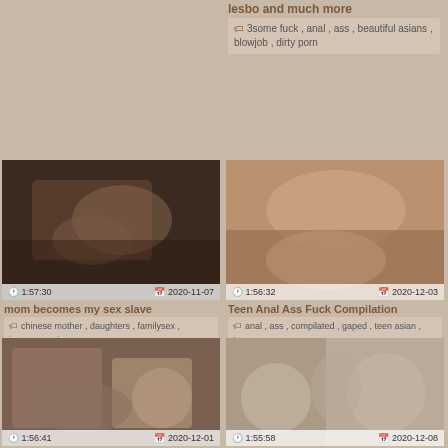lesbo and much more
3some fuck , anal , ass , beautiful asians , blowjob , dirty porn
[Figure (photo): Video thumbnail - mom becomes my sex slave, duration 1:57:30, date 2020-11-07]
mom becomes my sex slave
chinese mother , daughters , familysex , japaneses , jav , mom xxx
[Figure (photo): Video thumbnail - Teen Anal Ass Fuck Compilation, duration 1:56:32, date 2020-12-03]
Teen Anal Ass Fuck Compilation
anal , ass , compilated , gaped , teen asian , teenage
[Figure (photo): Video thumbnail - bottom left, duration 1:56:41, date 2020-12-01]
[Figure (photo): Video thumbnail - bottom right, duration 1:55:58, date 2020-12-08]